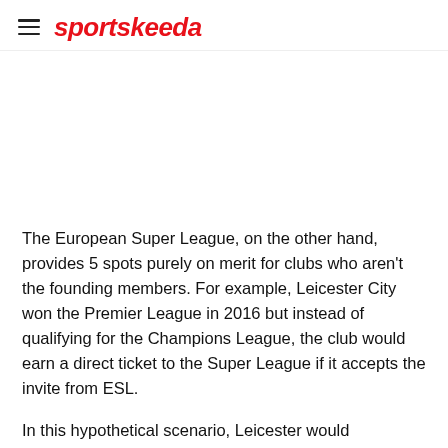sportskeeda
[Figure (photo): Image placeholder area (white/blank)]
The European Super League, on the other hand, provides 5 spots purely on merit for clubs who aren't the founding members. For example, Leicester City won the Premier League in 2016 but instead of qualifying for the Champions League, the club would earn a direct ticket to the Super League if it accepts the invite from ESL.
In this hypothetical scenario, Leicester would eventually earn significantly more profits than by playing in the UCL,